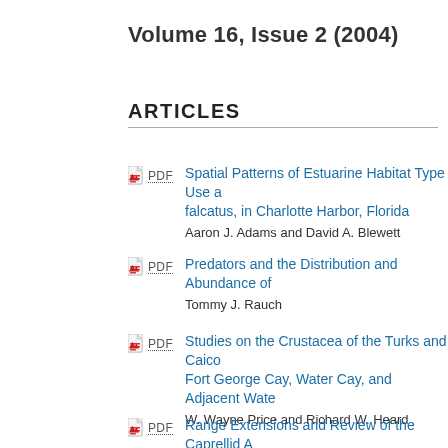Volume 16, Issue 2 (2004)
ARTICLES
Spatial Patterns of Estuarine Habitat Type Use a... falcatus, in Charlotte Harbor, Florida
Aaron J. Adams and David A. Blewett
Predators and the Distribution and Abundance of...
Tommy J. Rauch
Studies on the Crustacea of the Turks and Caico... Fort George Cay, Water Cay, and Adjacent Wate...
W. Wayne Price and Richard W. Heard
Range Extensions and Review of the Caprellid A... Coastal Waters from the Suwanee River, Florida,...
John M. Foster, Brent P. Thoma, and Richard W...